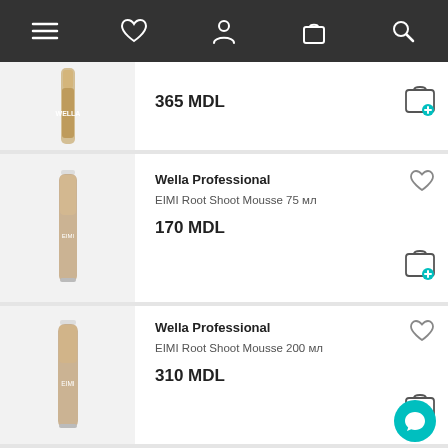[Figure (screenshot): Mobile app navigation bar with menu, heart, user, bag, and search icons on dark background]
365 MDL
Wella Professional
EIMI Root Shoot Mousse 75 мл
170 MDL
Wella Professional
EIMI Root Shoot Mousse 200 мл
310 MDL
Wella Professional
EIMI Dry Mo 65 мл